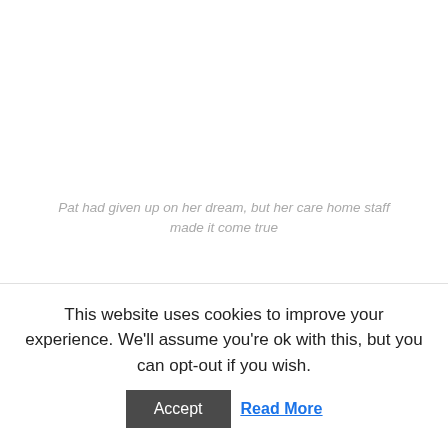Pat had given up on her dream, but her care home staff made it come true
After weeks of working to contact Michael, care home receptionist Sally-Anne Taylor finally heard back after
This website uses cookies to improve your experience. We'll assume you're ok with this, but you can opt-out if you wish.